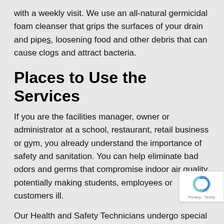with a weekly visit. We use an all-natural germicidal foam cleanser that grips the surfaces of your drain and pipes, loosening food and other debris that can cause clogs and attract bacteria.
Places to Use the Services
If you are the facilities manager, owner or administrator at a school, restaurant, retail business or gym, you already understand the importance of safety and sanitation. You can help eliminate bad odors and germs that compromise indoor air quality, potentially making students, employees or customers ill.
Our Health and Safety Technicians undergo special training to effectively perform commercial drain cleaning services. They use bioactive foam with enzymes that